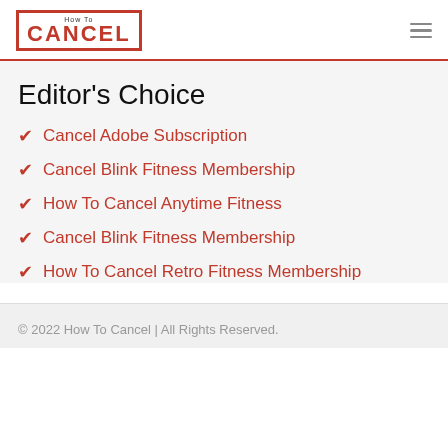How To CANCEL
Editor's Choice
Cancel Adobe Subscription
Cancel Blink Fitness Membership
How To Cancel Anytime Fitness
Cancel Blink Fitness Membership
How To Cancel Retro Fitness Membership
© 2022 How To Cancel | All Rights Reserved.